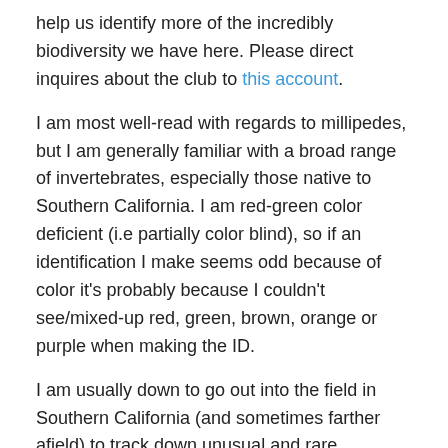help us identify more of the incredibly biodiversity we have here. Please direct inquires about the club to this account.
I am most well-read with regards to millipedes, but I am generally familiar with a broad range of invertebrates, especially those native to Southern California. I am red-green color deficient (i.e partially color blind), so if an identification I make seems odd because of color it's probably because I couldn't see/mixed-up red, green, brown, orange or purple when making the ID.
I am usually down to go out into the field in Southern California (and sometimes farther afield) to track down unusual and rare invertebrates, and am always happy to help in identification, documentation, and responsible captive-breeding efforts.
I am majorly concerned with the seemingly relentless advance of development for housing projects and other infrastructure in my home state of California, which has already led to the destruction of such species as Syncaris pasadenae, Aptostichus lucerne,, and A. killerdana and poses a direct threat to many more species, including my favorite yucca, the Joshua Tree. This is of course not to mention the doubtless numerous species that went extinct before being discovered. Habitat